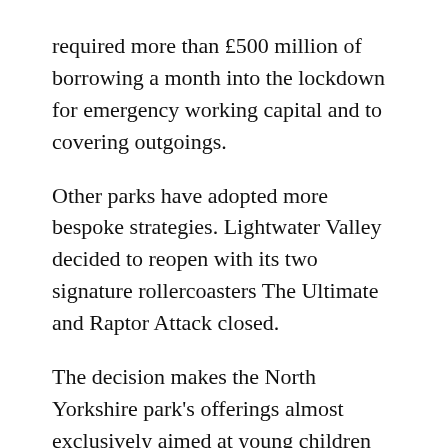required more than £500 million of borrowing a month into the lockdown for emergency working capital and to covering outgoings.
Other parks have adopted more bespoke strategies. Lightwater Valley decided to reopen with its two signature rollercoasters The Ultimate and Raptor Attack closed.
The decision makes the North Yorkshire park's offerings almost exclusively aimed at young children and families. It is difficult to know how much of a saving is associated with the closure of these rides, but surely the decision is keeping many a thrill-seeker away.
While the parks probably know best when it comes to what's good for their cash flow, the severity of COVID-19's impact on the UK's already-dwindling theme park industry cannot be